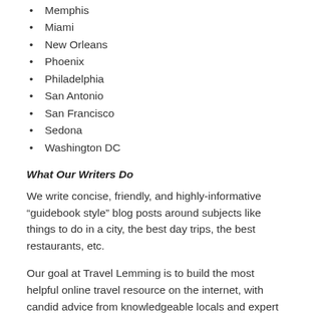Memphis
Miami
New Orleans
Phoenix
Philadelphia
San Antonio
San Francisco
Sedona
Washington DC
What Our Writers Do
We write concise, friendly, and highly-informative “guidebook style” blog posts around subjects like things to do in a city, the best day trips, the best restaurants, etc.
Our goal at Travel Lemming is to build the most helpful online travel resource on the internet, with candid advice from knowledgeable locals and expert travelers. Writers write under their own byline.